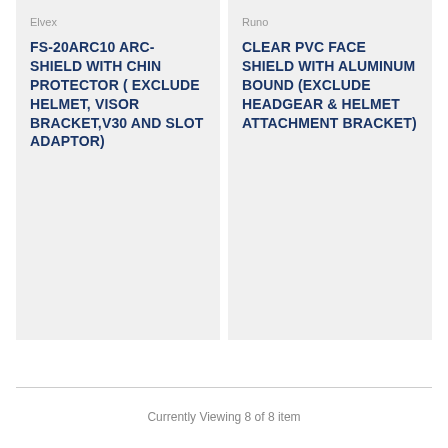Elvex
FS-20ARC10 ARC-SHIELD WITH CHIN PROTECTOR ( EXCLUDE HELMET, VISOR BRACKET,V30 AND SLOT ADAPTOR)
Runo
CLEAR PVC FACE SHIELD WITH ALUMINUM BOUND (EXCLUDE HEADGEAR & HELMET ATTACHMENT BRACKET)
Currently Viewing 8 of 8 item